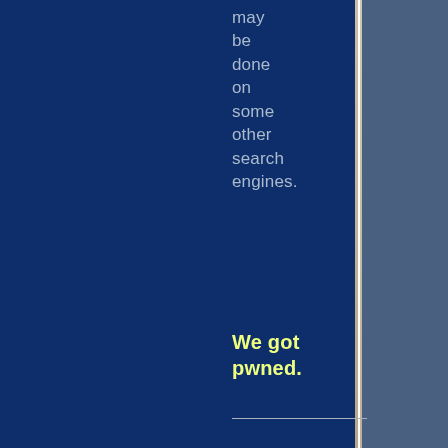may be done on some other search engines.
We got pwned.